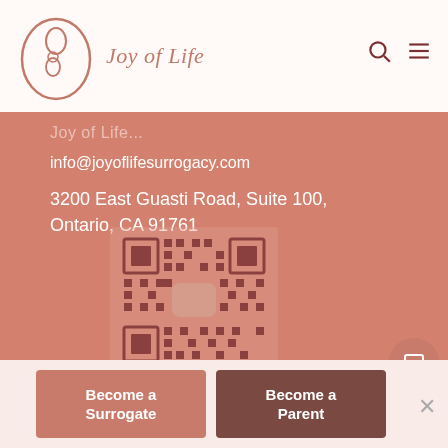Joy of Life
info@joyoflifesurrogacy.com
3200 East Guasti Road, Suite 100, Ontario, CA 91761
[Figure (other): QR code for Joy of Life Surrogacy website]
Become a Surrogate
Become a Parent